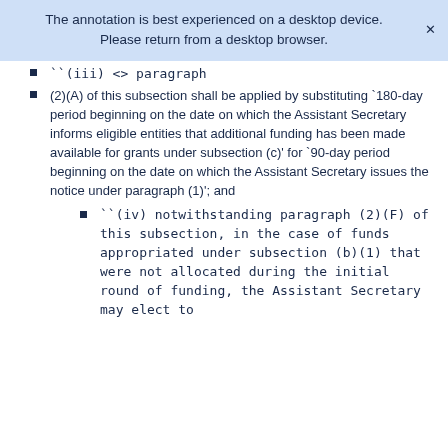The annotation is best experienced on a desktop device. Please return from a desktop browser.
``(iii) <> paragraph
(2)(A) of this subsection shall be applied by substituting `180-day period beginning on the date on which the Assistant Secretary informs eligible entities that additional funding has been made available for grants under subsection (c)' for `90-day period beginning on the date on which the Assistant Secretary issues the notice under paragraph (1)'; and
``(iv) notwithstanding paragraph (2)(F) of this subsection, in the case of funds appropriated under subsection (b)(1) that were not allocated during the initial round of funding, the Assistant Secretary may elect to